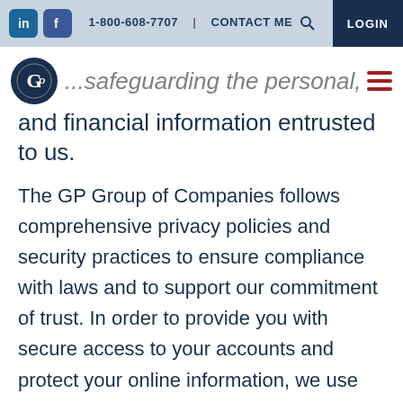1-800-608-7707 | CONTACT ME | LOGIN
...safeguarding the personal, business, and financial information entrusted to us.
The GP Group of Companies follows comprehensive privacy policies and security practices to ensure compliance with laws and to support our commitment of trust. In order to provide you with secure access to your accounts and protect your online information, we use several layers of security mechanisms, technologies, processes and procedures. Furthermore,